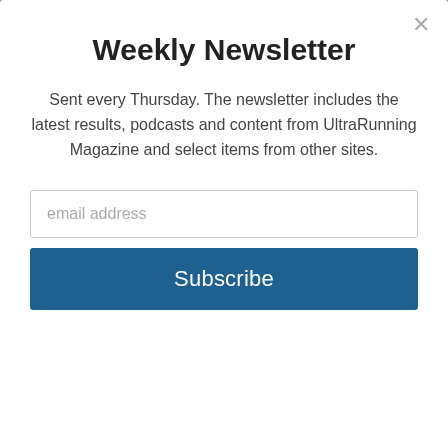Weekly Newsletter
Sent every Thursday. The newsletter includes the latest results, podcasts and content from UltraRunning Magazine and select items from other sites.
[Figure (screenshot): Email address input field with placeholder text 'email address']
[Figure (screenshot): Subscribe button in dark blue]
| Rank | Bib | Name/Category | Time |
| --- | --- | --- | --- |
| 140 | 115 | M 50-59 | 5:21:08 |
| 141 | 116 | Jason Wood
M 30-39 | 5:21:27 |
| 142 | 117 | Mike Araiza
M 50-59 | 5:21:34 |